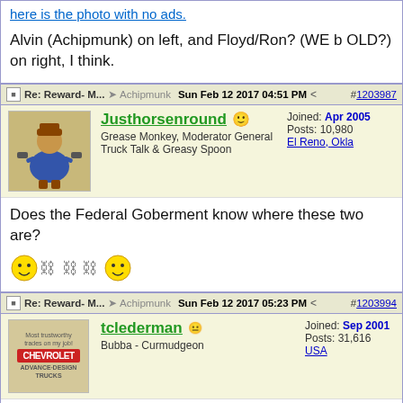here is the photo with no ads.
Alvin (Achipmunk) on left, and Floyd/Ron? (WE b OLD?) on right, I think.
Re: Reward- M... → Achipmunk  Sun Feb 12 2017 04:51 PM  #1203987
Justhorsenround  Joined: Apr 2005  Grease Monkey, Moderator General Truck Talk & Greasy Spoon  Posts: 10,980  El Reno, Okla
Does the Federal Goberment know where these two are?
Re: Reward- M... → Achipmunk  Sun Feb 12 2017 05:23 PM  #1203994
tclederman  Joined: Sep 2001  Bubba - Curmudgeon  Posts: 31,616  USA
The authorities will know now - their chain gang IDs are now visible.